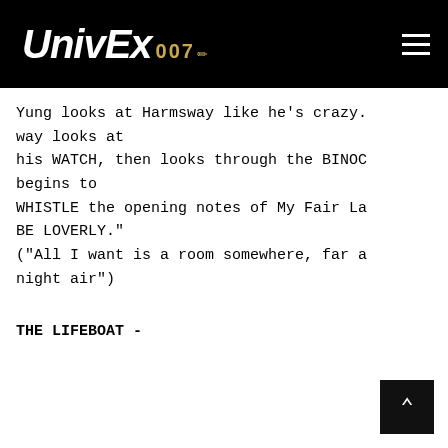UnivEx 007
Yung looks at Harmsway like he's crazy. Harmsway looks at his WATCH, then looks through the BINOCULARS, begins to WHISTLE the opening notes of My Fair Lady's "WOULDN'T IT BE LOVERLY." ("All I want is a room somewhere, far away from the cold night air")
THE LIFEBOAT -